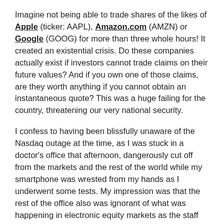Imagine not being able to trade shares of the likes of Apple (ticker: AAPL), Amazon.com (AMZN) or Google (GOOG) for more than three whole hours! It created an existential crisis. Do these companies actually exist if investors cannot trade claims on their future values? And if you own one of those claims, are they worth anything if you cannot obtain an instantaneous quote? This was a huge failing for the country, threatening our very national security.
I confess to having been blissfully unaware of the Nasdaq outage at the time, as I was stuck in a doctor's office that afternoon, dangerously cut off from the markets and the rest of the world while my smartphone was wrested from my hands as I underwent some tests. My impression was that the rest of the office also was ignorant of what was happening in electronic equity markets as the staff and doctors went about their business of treating patients. Only later would I learn of the tragedy that had befallen us.
Can this great nation long endure a lack of stock trading? Perhaps on a somnolent late-summer day, and then for a few